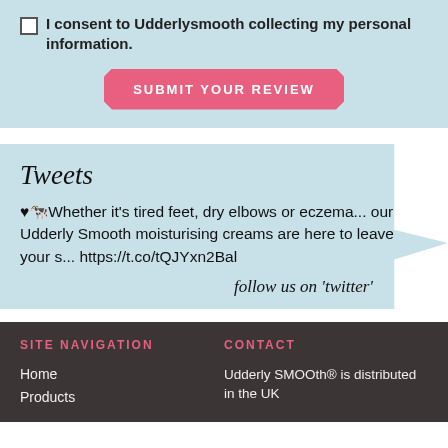I consent to Udderlysmooth collecting my personal information.
SUBMIT YOUR REVIEW
Tweets
♥🐄Whether it's tired feet, dry elbows or eczema... our Udderly Smooth moisturising creams are here to leave your s... https://t.co/tQJYxn2Bal
follow us on 'twitter'
SITE NAVIGATION
CONTACT
Home
Products
Udderly SMOOth® is distributed in the UK